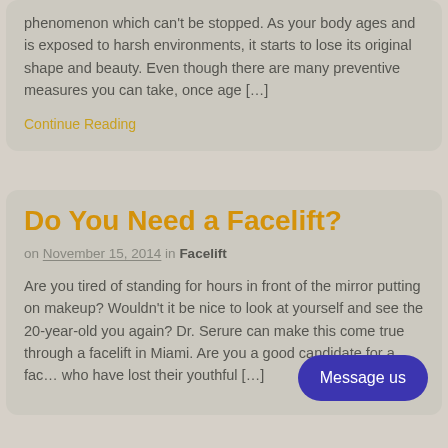phenomenon which can't be stopped. As your body ages and is exposed to harsh environments, it starts to lose its original shape and beauty. Even though there are many preventive measures you can take, once age […]
Continue Reading
Do You Need a Facelift?
on November 15, 2014 in Facelift
Are you tired of standing for hours in front of the mirror putting on makeup? Wouldn't it be nice to look at yourself and see the 20-year-old you again? Dr. Serure can make this come true through a facelift in Miami. Are you a good candidate for a fac… who have lost their youthful […]